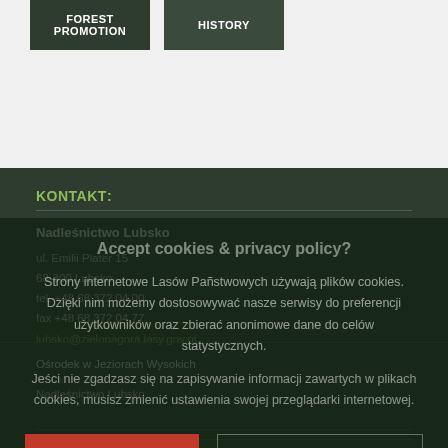[Figure (screenshot): Navigation buttons: FOREST PROMOTION and HISTORY on dark green background]
KONTAKT:
Nadleśnictwo Lubsko
ul. Emilii Plater 15
68-300 Lubsko
tel. +48 68 372 04 00
fax +48 68 372 04 77
lubsko@zielonagora.lasy.gov.pl
Ośrodek w Jeziorach Wysokich
Nadleśnictwo Lubsko
Accept cookies & privacy policy?
Strony internetowe Lasów Państwowych używają plików cookies. Dzięki nim możemy dostosowywać nasze serwisy do preferencji użytkowników oraz zbierać anonimowe dane do celów statystycznych.
Jeśli nie zgadzasz się na zapisywanie informacji zawartych w plikach cookies, musisz zmienić ustawienia swojej przeglądarki internetowej.